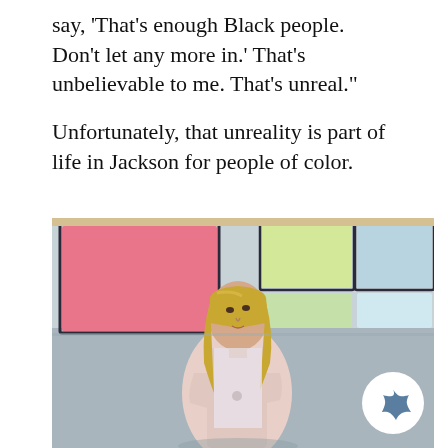say, 'That's enough Black people. Don't let any more in.' That's unbelievable to me. That's unreal."
Unfortunately, that unreality is part of life in Jackson for people of color.
[Figure (photo): A woman with long blonde hair wearing a light pink blazer stands in front of a wall with colorful panels (pink, yellow-green, blue). She is looking upward and to the right. A decorative blue flower/star badge appears in the bottom right corner of the photo.]